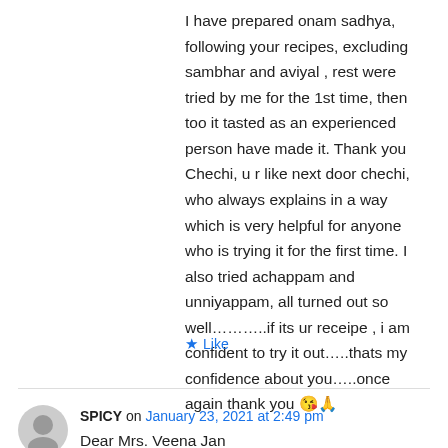I have prepared onam sadhya, following your recipes, excluding sambhar and aviyal , rest were tried by me for the 1st time, then too it tasted as an experienced person have made it. Thank you Chechi, u r like next door chechi, who always explains in a way which is very helpful for anyone who is trying it for the first time. I also tried achappam and unniyappam, all turned out so well………..if its ur receipe , i am confident to try it out…..thats my confidence about you…..once again thank you 😘🙏
★ Like
SPICY on January 23, 2021 at 2:49 pm
Dear Mrs. Veena Jan